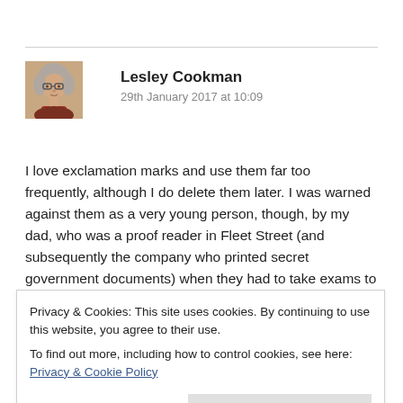[Figure (photo): Avatar photo of Lesley Cookman, an older woman with gray hair and glasses, wearing a red scarf]
Lesley Cookman
29th January 2017 at 10:09
I love exclamation marks and use them far too frequently, although I do delete them later. I was warned against them as a very young person, though, by my dad, who was a proof reader in Fleet Street (and subsequently the company who printed secret government documents) when they had to take exams to achieve the exalted rank. The name for them
Privacy & Cookies: This site uses cookies. By continuing to use this website, you agree to their use.
To find out more, including how to control cookies, see here: Privacy & Cookie Policy
Close and accept
far too rambling for a comment.